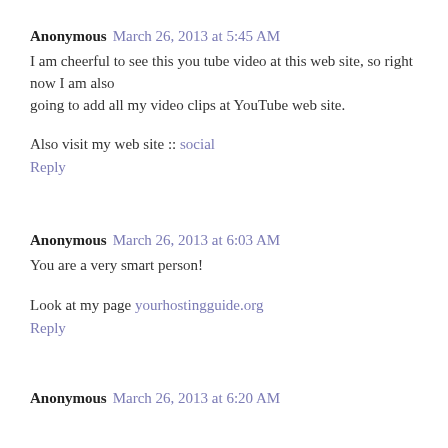Anonymous  March 26, 2013 at 5:45 AM
I am cheerful to see this you tube video at this web site, so right now I am also going to add all my video clips at YouTube web site.
Also visit my web site :: social
Reply
Anonymous  March 26, 2013 at 6:03 AM
You are a very smart person!
Look at my page yourhostingguide.org
Reply
Anonymous  March 26, 2013 at 6:20 AM